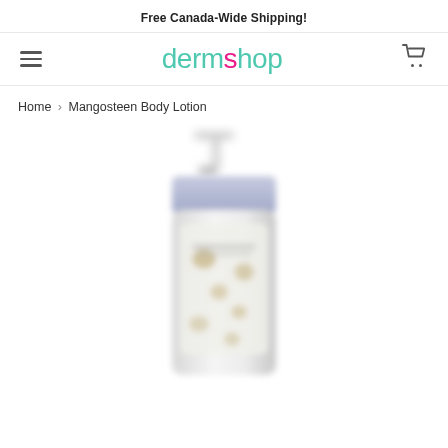Free Canada-Wide Shipping!
[Figure (logo): dermshop logo with teal and pink coloring]
Home › Mangosteen Body Lotion
[Figure (photo): Blurred product photo of a white pump bottle of Mangosteen Body Lotion]